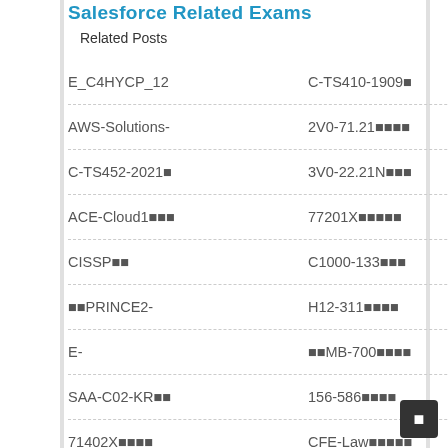Salesforce Related Exams
Related Posts
E_C4HYCP_12   C-TS410-1909🔲
AWS-Solutions-   2V0-71.21🔲🔲🔲🔲
C-TS452-2021🔲   3V0-22.21N🔲🔲🔲
ACE-Cloud1🔲🔲🔲   77201X🔲🔲🔲🔲🔲
CISSP🔲🔲   C1000-133🔲🔲🔲
🔲🔲PRINCE2-   H12-311🔲🔲🔲🔲🔲
E-   🔲🔲MB-700🔲🔲🔲🔲
SAA-C02-KR🔲🔲   156-586🔲🔲🔲🔲
71402X🔲🔲🔲🔲   CFE-Law🔲🔲🔲🔲🔲
1z0-1072-22🔲🔲   AWS-Solutions-
PEGACLSA_62'   E_S4CPE_2022